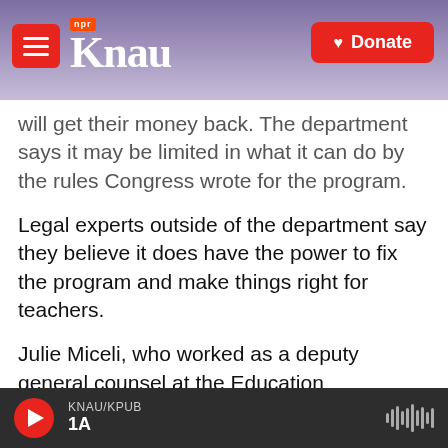KNAU NPR - Donate
will get their money back. The department says it may be limited in what it can do by the rules Congress wrote for the program.
Legal experts outside of the department say they believe it does have the power to fix the program and make things right for teachers.
Julie Miceli, who worked as a deputy general counsel at the Education Department until 2014, says fixing problems like this was her job.
So we asked her, could the department make this right — could it go back and review whether TEACH
KNAU/KPUB 1A